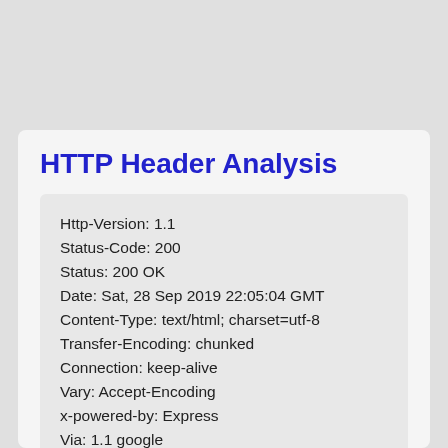HTTP Header Analysis
Http-Version: 1.1
Status-Code: 200
Status: 200 OK
Date: Sat, 28 Sep 2019 22:05:04 GMT
Content-Type: text/html; charset=utf-8
Transfer-Encoding: chunked
Connection: keep-alive
Vary: Accept-Encoding
x-powered-by: Express
Via: 1.1 google
Alt-Svc: clear
Expect-CT: max-age=604800, report-uri="https://report-uri.cloudflare.com/cdn-cgi/beacon/expect-ct"
Server: cloudflare
CF-RAY: 51d904443ccdd6bd-ERA